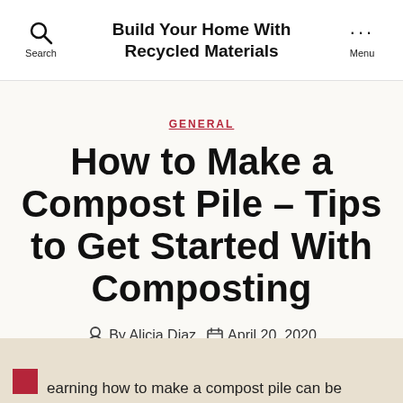Build Your Home With Recycled Materials
GENERAL
How to Make a Compost Pile – Tips to Get Started With Composting
By Alicia Diaz  April 20, 2020
earning how to make a compost pile can be